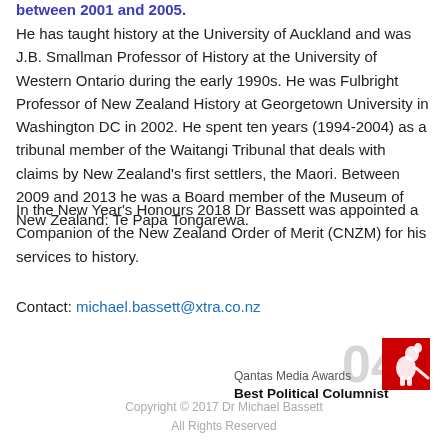between 2001 and 2005.
He has taught history at the University of Auckland and was J.B. Smallman Professor of History at the University of Western Ontario during the early 1990s. He was Fulbright Professor of New Zealand History at Georgetown University in Washington DC in 2002. He spent ten years (1994-2004) as a tribunal member of the Waitangi Tribunal that deals with claims by New Zealand's first settlers, the Maori. Between 2009 and 2013 he was a Board member of the Museum of New Zealand: Te Papa Tongarewa.
In the New Year's Honours 2018 Dr Bassett was appointed a Companion of the New Zealand Order of Merit (CNZM) for his services to history.
Contact: michael.bassett@xtra.co.nz
[Figure (logo): Qantas Media Awards logo with the number 04 in grey, a red Qantas kangaroo symbol, and text 'Qantas Media Awards Best Political Columnist' in bold black.]
Copyright © 2017 Dr Michael Bassett
All Rights Reserved